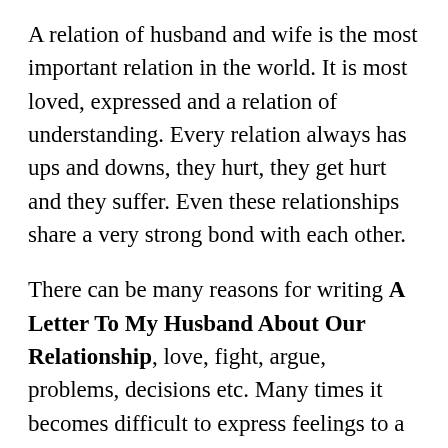A relation of husband and wife is the most important relation in the world. It is most loved, expressed and a relation of understanding. Every relation always has ups and downs, they hurt, they get hurt and they suffer. Even these relationships share a very strong bond with each other.
There can be many reasons for writing A Letter To My Husband About Our Relationship, love, fight, argue, problems, decisions etc. Many times it becomes difficult to express feelings to a person by face or conversation. So writing a letter is sometimes convenient to express our emotions and feelings, it is also in the article provided...